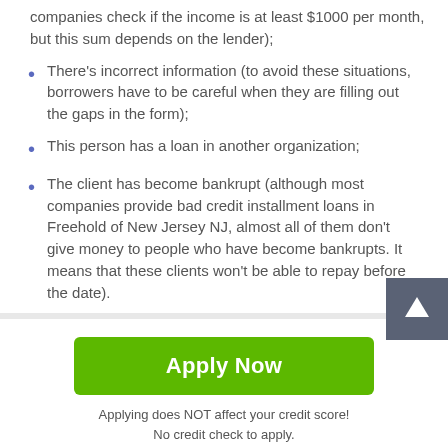companies check if the income is at least $1000 per month, but this sum depends on the lender);
There's incorrect information (to avoid these situations, borrowers have to be careful when they are filling out the gaps in the form);
This person has a loan in another organization;
The client has become bankrupt (although most companies provide bad credit installment loans in Freehold of New Jersey NJ, almost all of them don't give money to people who have become bankrupts. It means that these clients won't be able to repay before the date).
[Figure (other): Green Apply Now button with text 'Apply Now']
Applying does NOT affect your credit score!
No credit check to apply.